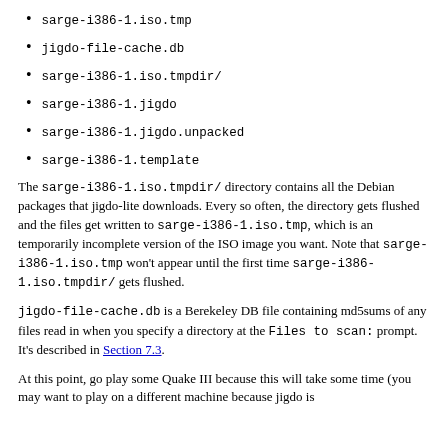sarge-i386-1.iso.tmp
jigdo-file-cache.db
sarge-i386-1.iso.tmpdir/
sarge-i386-1.jigdo
sarge-i386-1.jigdo.unpacked
sarge-i386-1.template
The sarge-i386-1.iso.tmpdir/ directory contains all the Debian packages that jigdo-lite downloads. Every so often, the directory gets flushed and the files get written to sarge-i386-1.iso.tmp, which is an temporarily incomplete version of the ISO image you want. Note that sarge-i386-1.iso.tmp won't appear until the first time sarge-i386-1.iso.tmpdir/ gets flushed.
jigdo-file-cache.db is a Berekeley DB file containing md5sums of any files read in when you specify a directory at the Files to scan: prompt. It's described in Section 7.3.
At this point, go play some Quake III because this will take some time (you may want to play on a different machine because jigdo is considerably better at flushing files to the same or a different file). A